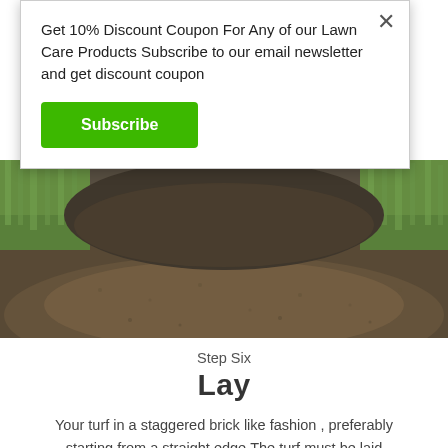Get 10% Discount Coupon For Any of our Lawn Care Products Subscribe to our email newsletter and get discount coupon
Subscribe
[Figure (photo): Close-up photo of dark soil/earth with green grass turf at the edges, showing turf being prepared for laying]
Step Six
Lay
Your turf in a staggered brick like fashion , preferably starting from a straight edge.The turf must be laid immediately upon delivery. It should be stored in a